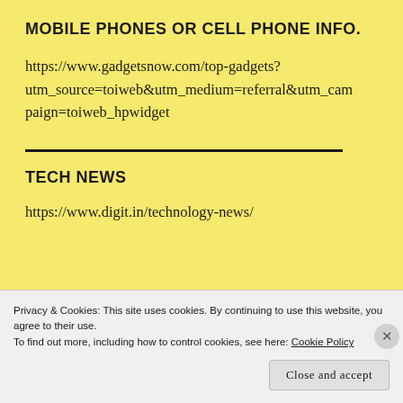MOBILE PHONES OR CELL PHONE INFO.
https://www.gadgetsnow.com/top-gadgets?utm_source=toiweb&utm_medium=referral&utm_campaign=toiweb_hpwidget
TECH NEWS
https://www.digit.in/technology-news/
Privacy & Cookies: This site uses cookies. By continuing to use this website, you agree to their use.
To find out more, including how to control cookies, see here: Cookie Policy